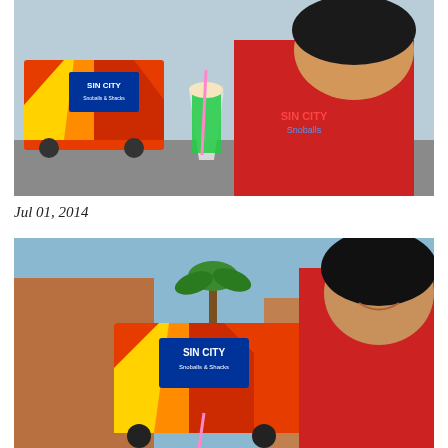[Figure (photo): Woman in red 'Sin City Snoballs' t-shirt holding a green snoball drink in a clear cup, standing in front of the colorful Sin City Snoballs & Shacks food truck in a parking lot.]
Jul 01, 2014
[Figure (photo): Same woman in red t-shirt smiling, with the Sin City Snoballs & Shacks food truck visible in the background along with palm trees and buildings.]